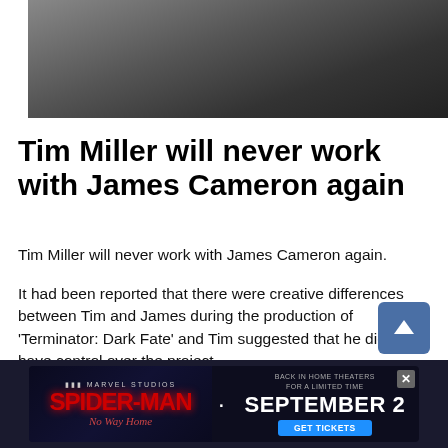[Figure (photo): Partial photo of a person in a dark suit jacket, cropped at the top of the page]
Tim Miller will never work with James Cameron again
Tim Miller will never work with James Cameron again.
It had been reported that there were creative differences between Tim and James during the production of 'Terminator: Dark Fate' and Tim suggested that he didn't have control over the project.
Tim confirmed to KCRW radio station that he would not be collaborating with the 'Avatar' filmmaker again.
When asked, he said: "No, but it has nothing to do with whatever
[Figure (photo): Spider-Man: No Way Home advertisement banner - Back in Home Theaters For A Limited Time, September 2, Get Tickets]